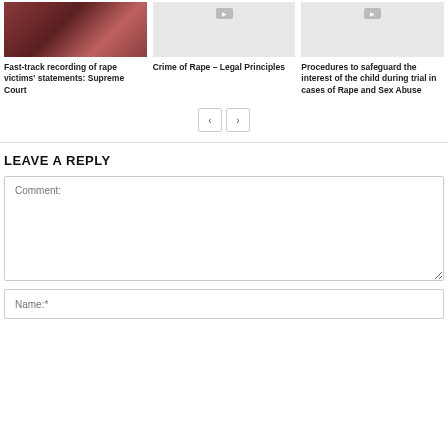[Figure (photo): Photo of crowd/protest scene with people, red-toned]
Fast-track recording of rape victims' statements: Supreme Court
[Figure (photo): Light gray placeholder image with small badge]
Crime of Rape – Legal Principles
[Figure (photo): Light gray placeholder image with small badge]
Procedures to safeguard the interest of the child during trial in cases of Rape and Sex Abuse
LEAVE A REPLY
Comment:
Name:*